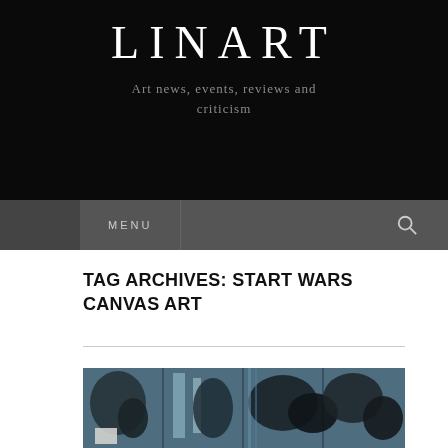LINART
Art news, events, reviews and criticism
TAG ARCHIVES: START WARS CANVAS ART
[Figure (photo): Artwork photograph showing dark blue abstract canvas art panels with figures, possibly Star Wars themed]